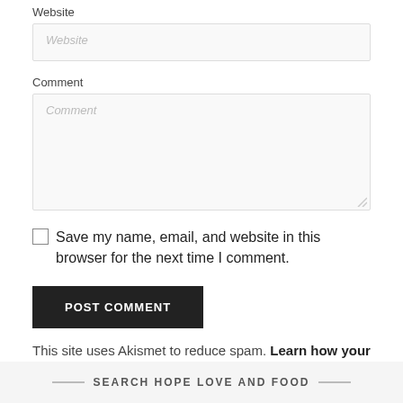Website
[Figure (screenshot): Website text input field with placeholder text 'Website']
Comment
[Figure (screenshot): Comment textarea with placeholder text 'Comment' and resize handle]
Save my name, email, and website in this browser for the next time I comment.
[Figure (screenshot): POST COMMENT button in dark background]
This site uses Akismet to reduce spam. Learn how your comment data is processed.
Search Hope Love And Food